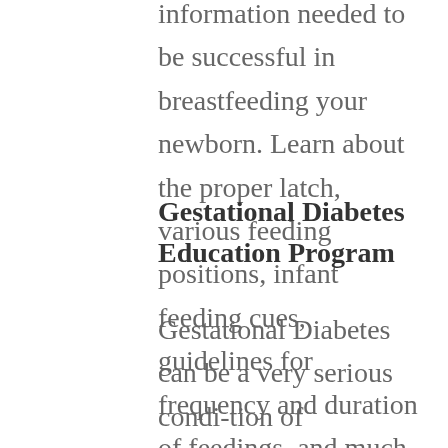information needed to be successful in breastfeeding your newborn. Learn about the proper latch, various feeding positions, infant feeding cues, guidelines for frequency and duration of feedings, and much more! Class is free.
Gestational Diabetes Education Program
Gestational Diabetes can be a very serious condi-tion of pregnancy if not controlled. The goal of the program is to work collaboratively with the patient's physician and staff to ensure a good outcome for both mother and baby. The